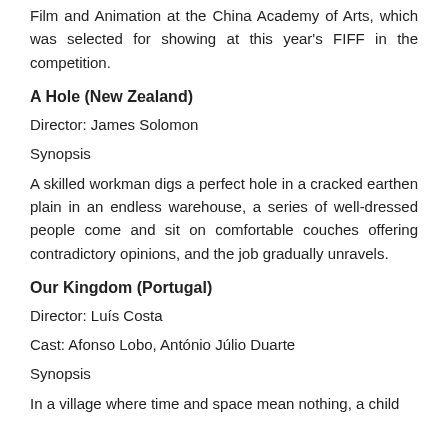Film and Animation at the China Academy of Arts, which was selected for showing at this year's FIFF in the competition.
A Hole (New Zealand)
Director: James Solomon
Synopsis
A skilled workman digs a perfect hole in a cracked earthen plain in an endless warehouse, a series of well-dressed people come and sit on comfortable couches offering contradictory opinions, and the job gradually unravels.
Our Kingdom (Portugal)
Director: Luís Costa
Cast: Afonso Lobo, António Júlio Duarte
Synopsis
In a village where time and space mean nothing, a child